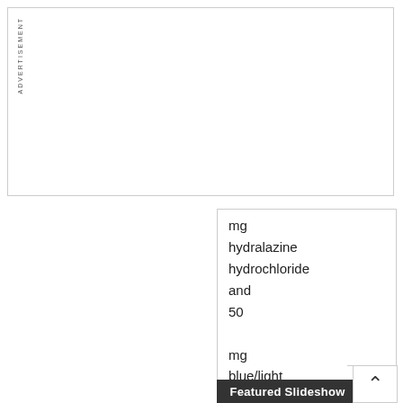[Figure (other): Advertisement placeholder box at top of page]
ADVERTISEMENT
mg hydralazine hydrochloride and 50 mg hydrochlorothiazide capsules are powder blue/light
ADVERTISEMENT
Featured Slideshow